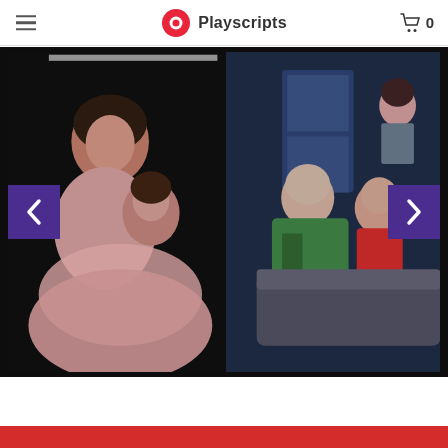Playscripts [logo with cart icon showing 0]
[Figure (photo): Theater production slideshow showing two side-by-side performance photos. Left photo: woman and young girl in an intimate scene on stage with pink costumes against dark background. Right photo: bald man in green jacket facing woman in red top seated on sofa, with another woman visible in background against blue set. Navigation arrows visible on left and right sides of slideshow.]
Red footer bar